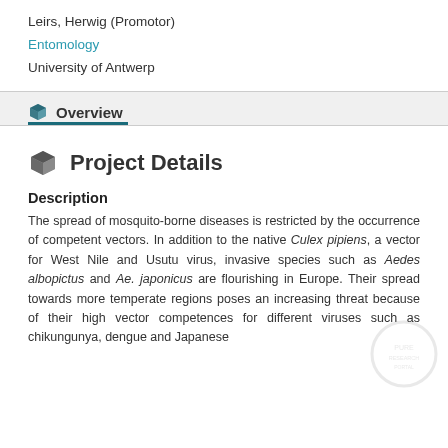Leirs, Herwig (Promotor)
Entomology
University of Antwerp
Overview
Project Details
Description
The spread of mosquito-borne diseases is restricted by the occurrence of competent vectors. In addition to the native Culex pipiens, a vector for West Nile and Usutu virus, invasive species such as Aedes albopictus and Ae. japonicus are flourishing in Europe. Their spread towards more temperate regions poses an increasing threat because of their high vector competences for different viruses such as chikungunya, dengue and Japanese